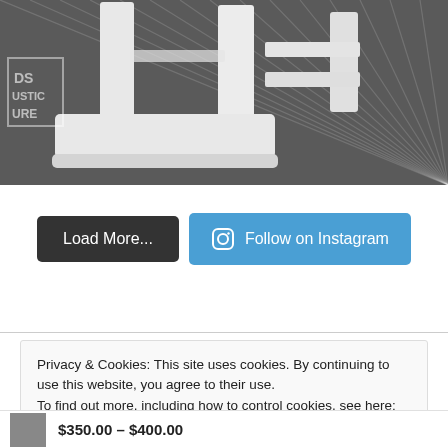[Figure (photo): Close-up photo of white painted furniture legs/base on a dark striped carpet, with a watermark logo reading 'DS USTIC URE' on the left side]
Load More...
Follow on Instagram
Privacy & Cookies: This site uses cookies. By continuing to use this website, you agree to their use.
To find out more, including how to control cookies, see here: Cookie Policy
Close and accept
$350.00 – $400.00